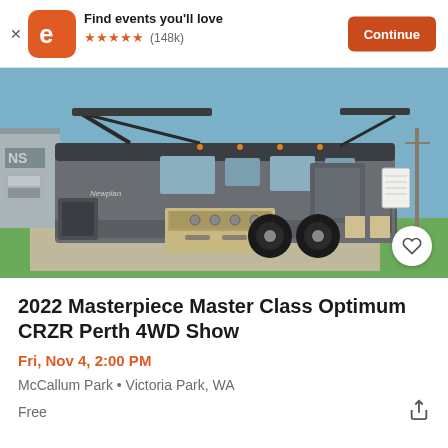Find events you'll love ★★★★★ (148k) Continue
[Figure (photo): Photo of a large off-road caravan/trailer with slide-out kitchen and an awning deployed, displayed in an outdoor show area on green turf. Building and power lines visible in background.]
2022 Masterpiece Master Class Optimum CRZR Perth 4WD Show
Fri, Nov 4, 2:00 PM
McCallum Park • Victoria Park, WA
Free